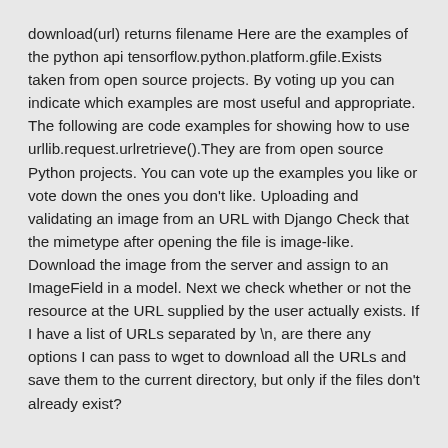download(url) returns filename Here are the examples of the python api tensorflow.python.platform.gfile.Exists taken from open source projects. By voting up you can indicate which examples are most useful and appropriate. The following are code examples for showing how to use urllib.request.urlretrieve().They are from open source Python projects. You can vote up the examples you like or vote down the ones you don't like. Uploading and validating an image from an URL with Django Check that the mimetype after opening the file is image-like. Download the image from the server and assign to an ImageField in a model. Next we check whether or not the resource at the URL supplied by the user actually exists. If I have a list of URLs separated by \n, are there any options I can pass to wget to download all the URLs and save them to the current directory, but only if the files don't already exist?